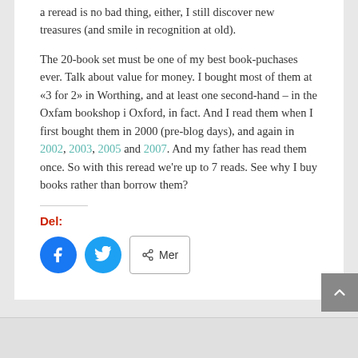a reread is no bad thing, either, I still discover new treasures (and smile in recognition at old).
The 20-book set must be one of my best book-puchases ever. Talk about value for money. I bought most of them at «3 for 2» in Worthing, and at least one second-hand – in the Oxfam bookshop i Oxford, in fact. And I read them when I first bought them in 2000 (pre-blog days), and again in 2002, 2003, 2005 and 2007. And my father has read them once. So with this reread we're up to 7 reads. See why I buy books rather than borrow them?
Del:
[Figure (other): Social share buttons: Facebook (blue circle), Twitter (blue circle), and Mer (More) button with share icon]